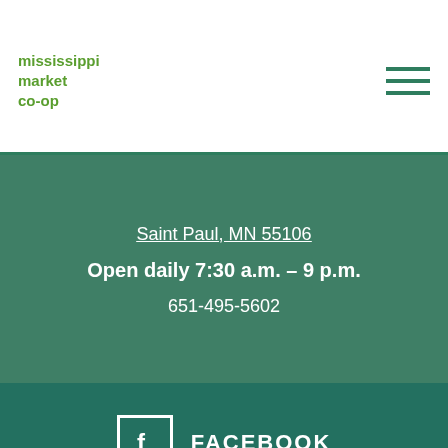mississippi market co-op
Saint Paul, MN 55106
Open daily 7:30 a.m. – 9 p.m.
651-495-5602
FACEBOOK
INSTAGRAM
TWITTER